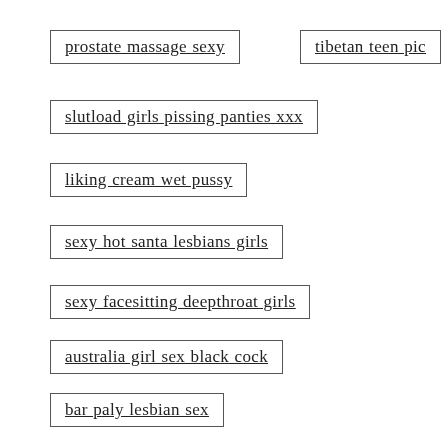prostate massage sexy
tibetan teen pic
slutload girls pissing panties xxx
liking cream wet pussy
sexy hot santa lesbians girls
sexy facesitting deepthroat girls
australia girl sex black cock
bar paly lesbian sex
mexican thumbnail lesbian porn gallery
nude photoshoot blowjob